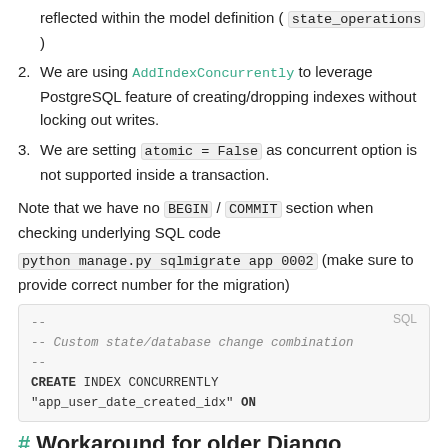reflected within the model definition ( state_operations )
We are using AddIndexConcurrently to leverage PostgreSQL feature of creating/dropping indexes without locking out writes.
We are setting atomic = False as concurrent option is not supported inside a transaction.
Note that we have no BEGIN / COMMIT section when checking underlying SQL code
python manage.py sqlmigrate app 0002 (make sure to provide correct number for the migration)
[Figure (screenshot): SQL code block showing: -- 
-- Custom state/database change combination
--
CREATE INDEX CONCURRENTLY "app_user_date_created_idx" ON]
# Workaround for older Django versions